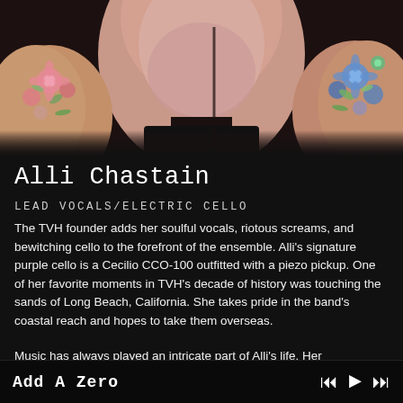[Figure (photo): Photo of Alli Chastain showing her neck/chest area with colorful tattoos on both shoulders, dark background]
Alli Chastain
LEAD VOCALS/ELECTRIC CELLO
The TVH founder adds her soulful vocals, riotous screams, and bewitching cello to the forefront of the ensemble. Alli's signature purple cello is a Cecilio CCO-100 outfitted with a piezo pickup. One of her favorite moments in TVH's decade of history was touching the sands of Long Beach, California. She takes pride in the band's coastal reach and hopes to take them overseas.
Music has always played an intricate part of Alli's life. Her grandmother's piano lessons and parent's church singing
Add A Zero